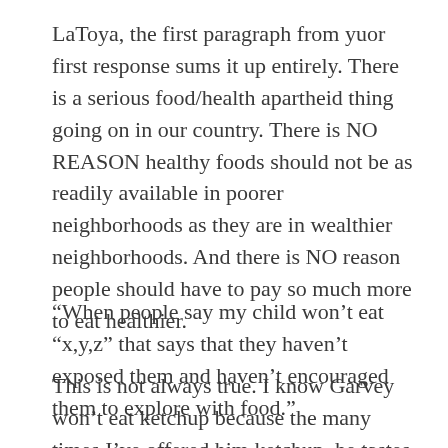LaToya, the first paragraph from yuor first response sums it up entirely. There is a serious food/health apartheid thing going on in our country. There is NO REASON healthy foods should not be as readily available in poorer neighborhoods as they are in wealthier neighborhoods. And there is NO reason people should have to pay so much more to eat healthier.
“When people say my child won’t eat “x,y,z” that says that they haven’t exposed them and haven’t encouraged them to explore with food.”
This is not always true. I know Garvey won’t eat ketchup because the many times I’ve offered him ketchup, he tastes it and doesn’t like it. I offer him a lot of things, he is just picky. I agree, though, that many parents don’t expose their children to healthier